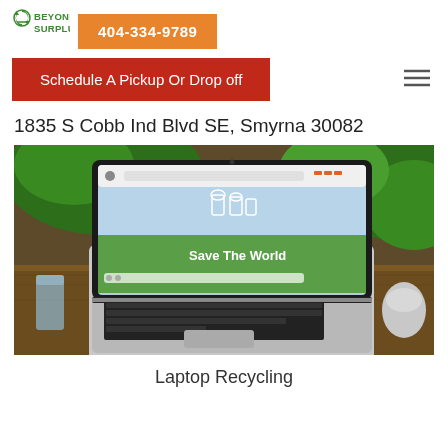[Figure (logo): Beyond Surplus logo with green recycling icon and text]
404-334-9789
Schedule A Pickup Or Drop off
1835 S Cobb Ind Blvd SE, Smyrna 30082
[Figure (photo): Laptop computer on a wooden table outdoors with plants, screen showing 'Save The World' with plant icons on a green background]
Laptop Recycling